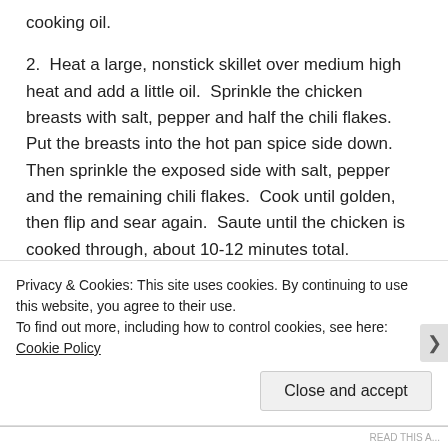cooking oil.
2.  Heat a large, nonstick skillet over medium high heat and add a little oil.  Sprinkle the chicken breasts with salt, pepper and half the chili flakes.  Put the breasts into the hot pan spice side down.  Then sprinkle the exposed side with salt, pepper and the remaining chili flakes.  Cook until golden, then flip and sear again.  Saute until the chicken is cooked through, about 10-12 minutes total.
[Figure (photo): Broken image placeholder with alt text: These chicken breasts were large, so I only used two rather than the three suggested in the recipe. Text appears as a hyperlink.]
Privacy & Cookies: This site uses cookies. By continuing to use this website, you agree to their use.
To find out more, including how to control cookies, see here: Cookie Policy
Close and accept